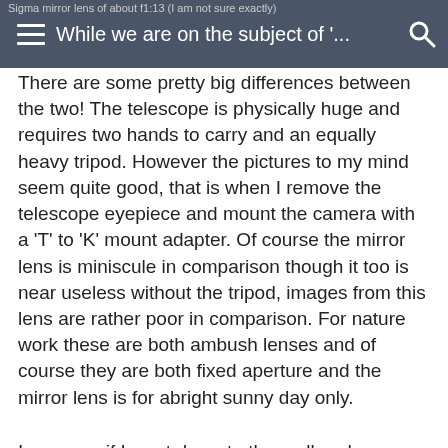Sigma mirror lens of about f1:13 (I am not sure exactly) | While we are on the subject of '...
There are some pretty big differences between the two! The telescope is physically huge and requires two hands to carry and an equally heavy tripod. However the pictures to my mind seem quite good, that is when I remove the telescope eyepiece and mount the camera with a 'T' to 'K' mount adapter. Of course the mirror lens is miniscule in comparison though it too is near useless without the tripod, images from this lens are rather poor in comparison. For nature work these are both ambush lenses and of course they are both fixed aperture and the mirror lens is for abright sunny day only.
I suppose if I went down to the mall and kidnapped a couple of kids to sell for medical experiments I might get enough to buy that 'Bigma' then I would get better pictures again, but reallywould I and why? What is it that would make a 'real'